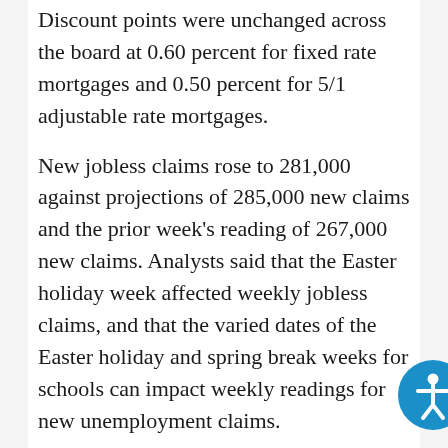Discount points were unchanged across the board at 0.60 percent for fixed rate mortgages and 0.50 percent for 5/1 adjustable rate mortgages.
New jobless claims rose to 281,000 against projections of 285,000 new claims and the prior week's reading of 267,000 new claims. Analysts said that the Easter holiday week affected weekly jobless claims, and that the varied dates of the Easter holiday and spring break weeks for schools can impact weekly readings for new unemployment claims.
The four-week rolling average of jobless claims fell to its lowest reading since June 2000. The four-week rolling average is considered a more dependable source for identifying labor force...